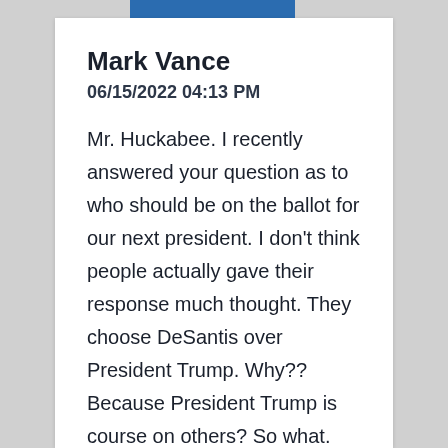Mark Vance
06/15/2022 04:13 PM
Mr. Huckabee. I recently answered your question as to who should be on the ballot for our next president. I don't think people actually gave their response much thought. They choose DeSantis over President Trump. Why?? Because President Trump is course on others? So what. They get what they